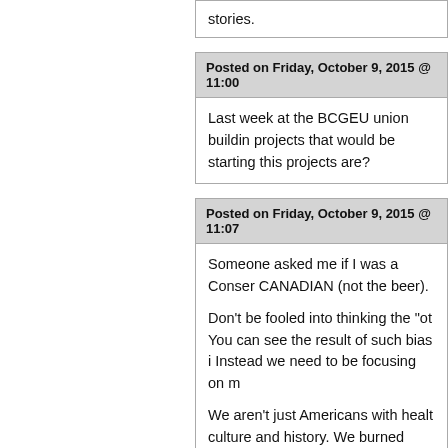stories.
Posted on Friday, October 9, 2015 @ 11:00
Last week at the BCGEU union buildin projects that would be starting this projects are?
Posted on Friday, October 9, 2015 @ 11:07
Someone asked me if I was a Conser CANADIAN (not the beer).

Don't be fooled into thinking the "ot You can see the result of such bias i Instead we need to be focusing on m

We aren't just Americans with healt culture and history. We burned their

Make no mistake, all elections, but e When I was growing up, I was proud t that Canadian opinion meant somet brothers and we were the moral...